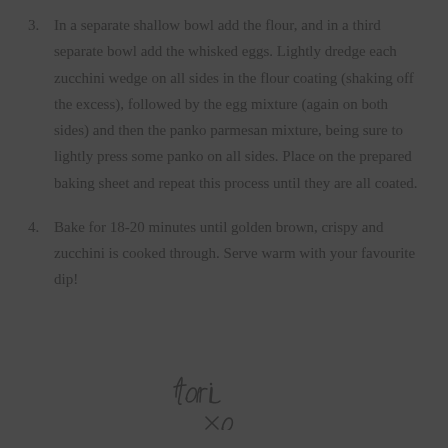3. In a separate shallow bowl add the flour, and in a third separate bowl add the whisked eggs. Lightly dredge each zucchini wedge on all sides in the flour coating (shaking off the excess), followed by the egg mixture (again on both sides) and then the panko parmesan mixture, being sure to lightly press some panko on all sides. Place on the prepared baking sheet and repeat this process until they are all coated.
4. Bake for 18-20 minutes until golden brown, crispy and zucchini is cooked through. Serve warm with your favourite dip!
[Figure (illustration): Handwritten cursive signature reading 'tori' with 'xo' below it, in dark ink on the dark background.]